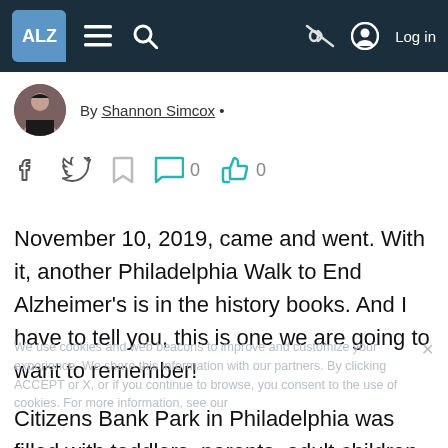ALZ | Navigation bar with hamburger menu, search, mute, and Log in
By Shannon Simcox •
[Figure (infographic): Social sharing icons row: Facebook, Twitter, bookmark, comment bubble with 0, thumbs up with 0]
November 10, 2019, came and went. With it, another Philadelphia Walk to End Alzheimer's is in the history books. And I have to tell you, this is one we are going to want to remember!
Citizens Bank Park in Philadelphia was filled with toddlers, parents, adult children, adolescents, volunteers, caregivers, those who have Alzheimer's, and puppies! (My own
We use cookies and web beacons to improve and customize your experience. We share this information with our partners. By clicking ACCEPT or X, or if you continue to browse, you consent to the use of cookies. For more information, see our